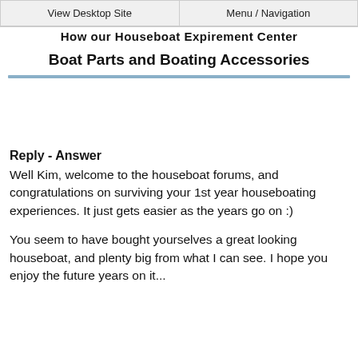View Desktop Site | Menu / Navigation
How our HouseboatExpirement Center
Boat Parts and Boating Accessories
Reply - Answer
Well Kim, welcome to the houseboat forums, and congratulations on surviving your 1st year houseboating experiences. It just gets easier as the years go on :)
You seem to have bought yourselves a great looking houseboat, and plenty big from what I can see. I hope you enjoy the future years on it...